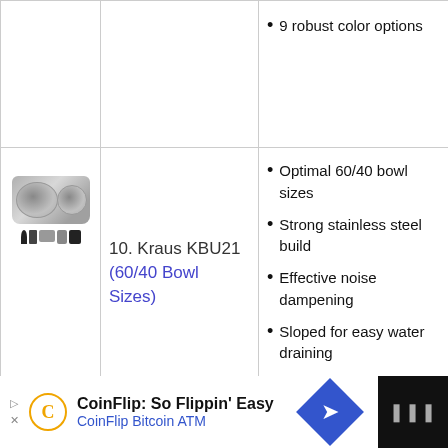9 robust color options
[Figure (photo): Kraus KBU21 double bowl stainless steel sink with accessories icons below]
10. Kraus KBU21 (60/40 Bowl Sizes)
Optimal 60/40 bowl sizes
Strong stainless steel build
Effective noise dampening
Sloped for easy water draining
CoinFlip: So Flippin' Easy — CoinFlip Bitcoin ATM